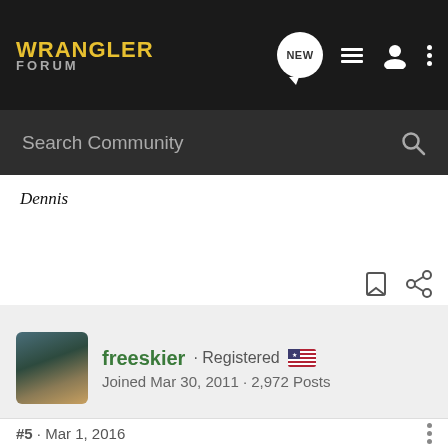WRANGLER FORUM
Search Community
Dennis
freeskier · Registered
Joined Mar 30, 2011 · 2,972 Posts
#5 · Mar 1, 2016